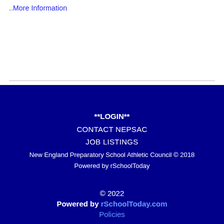..More Information
**LOGIN**
CONTACT NEPSAC
JOB LISTINGS
New England Preparatory School Athletic Council © 2018
Powered by rSchoolToday
© 2022
Powered by rSchoolToday.com
Policies